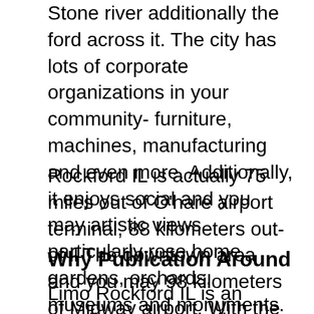Stone river additionally the ford across it. The city has lots of corporate organizations in your community- furniture, machines, manufacturing and even more. Additionally, it enjoys social and you may artistic views particularly rose home gardens, orchards, museums and monuments. To get more things you can do from inside the Rockford IL, please visit:
Rockford IL is actually 75 miles out of O'hare airport terminal, 88 kilometers out-of il The downtown area and you may 98 kilometers of Midway airport. With the Rockford Limo Provider, you would not discover how fast you can reach finally your appeal.
Why Publication Around
Limo Rockford IL is an excellent means to fix get to style and you will need every person's attract. Constantly limousines cost a lot. I from the Used Chicago make sure